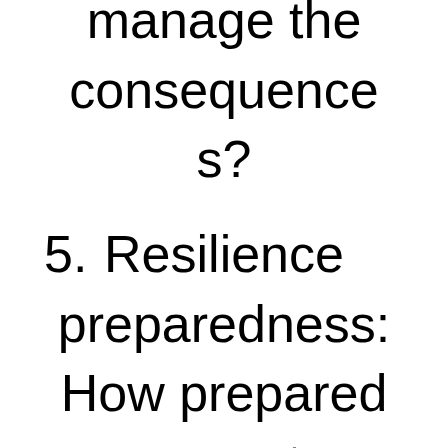manage the consequences?
5.    Resilience preparedness: How prepared are we to